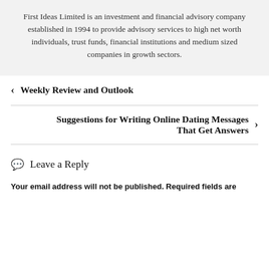First Ideas Limited is an investment and financial advisory company established in 1994 to provide advisory services to high net worth individuals, trust funds, financial institutions and medium sized companies in growth sectors.
< Weekly Review and Outlook
Suggestions for Writing Online Dating Messages That Get Answers >
Leave a Reply
Your email address will not be published. Required fields are